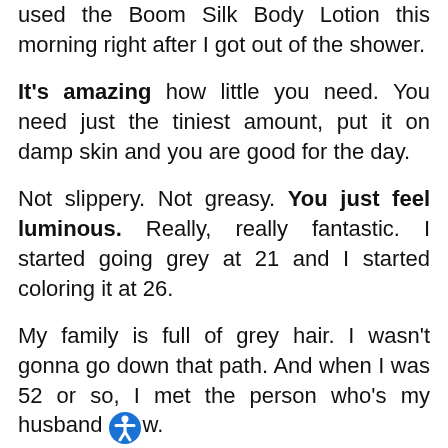used the Boom Silk Body Lotion this morning right after I got out of the shower.
It's amazing how little you need. You need just the tiniest amount, put it on damp skin and you are good for the day.
Not slippery. Not greasy. You just feel luminous. Really, really fantastic. I started going grey at 21 and I started coloring it at 26.
My family is full of grey hair. I wasn't gonna go down that path. And when I was 52 or so, I met the person who's my husband now.